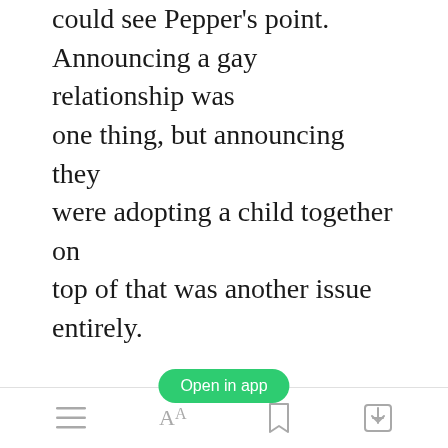could see Pepper's point. Announcing a gay relationship was one thing, but announcing they were adopting a child together on top of that was another issue entirely.
“I don't care. As of -” Tony reached out and defiantly tugged the papers on the table towards him, signing them without even a hint of a pause.
[Figure (screenshot): Green 'Open in app' button overlaid on the text]